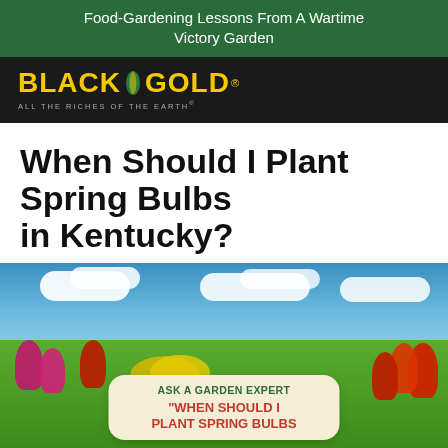Food-Gardening Lessons From A Wartime Victory Garden
[Figure (logo): Black Gold logo — text 'BLACK GOLD' in yellow on black background with a leaf icon, tagline 'ALL THE RICHES OF THE EARTH']
When Should I Plant Spring Bulbs in Kentucky?
[Figure (photo): Photo of a colorful field of spring tulips and daffodils in red, yellow, pink, and purple under a blue sky with white clouds. Overlaid card reads: ASK A GARDEN EXPERT / "WHEN SHOULD I PLANT SPRING BULBS [IN KENTUCKY?]"]